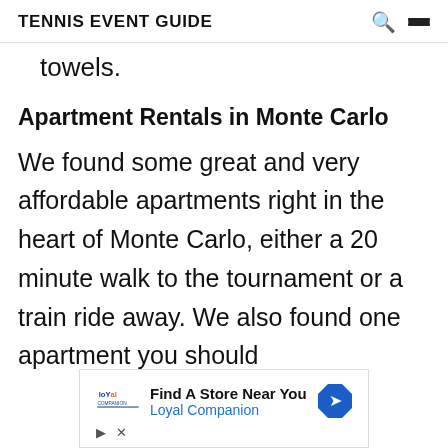TENNIS EVENT GUIDE
towels.
Apartment Rentals in Monte Carlo
We found some great and very affordable apartments right in the heart of Monte Carlo, either a 20 minute walk to the tournament or a train ride away. We also found one apartment you should
[Figure (infographic): Advertisement banner for Loyal Companion store locator. Shows 'Find A Store Near You' text with Loyal Companion logo and a blue navigation arrow icon. Footer has play and close icons.]